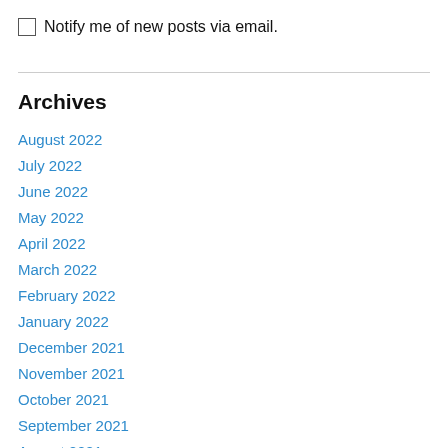Notify me of new posts via email.
Archives
August 2022
July 2022
June 2022
May 2022
April 2022
March 2022
February 2022
January 2022
December 2021
November 2021
October 2021
September 2021
August 2021
July 2021